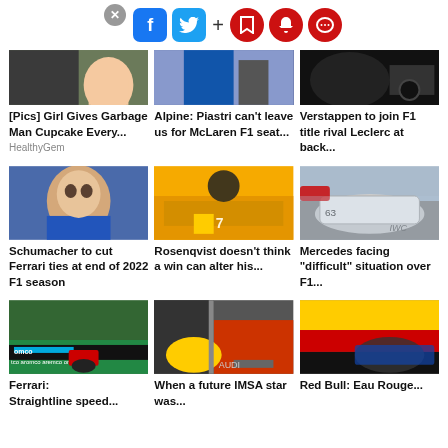[Figure (screenshot): Social media sharing toolbar with close button, Facebook, Twitter, plus, bookmark, bell, and chat icons]
[Figure (photo): Partial image of girl and garbage man]
[Figure (photo): Partial image related to Alpine/McLaren F1]
[Figure (photo): Partial image of F1 car related to Verstappen/Leclerc]
[Pics] Girl Gives Garbage Man Cupcake Every...
HealthyGem
Alpine: Piastri can't leave us for McLaren F1 seat...
Verstappen to join F1 title rival Leclerc at back...
[Figure (photo): Mick Schumacher portrait in blue]
[Figure (photo): Rosenqvist with racing team in yellow uniforms around McLaren car]
[Figure (photo): Mercedes F1 car number 63 on track]
Schumacher to cut Ferrari ties at end of 2022 F1 season
Rosenqvist doesn't think a win can alter his...
Mercedes facing "difficult" situation over F1...
[Figure (photo): Ferrari F1 car on track with Aramco branding]
[Figure (photo): Future IMSA star in racing gear]
[Figure (photo): Red Bull car at Eau Rouge corner]
Ferrari: Straightline speed...
When a future IMSA star was...
Red Bull: Eau Rouge...